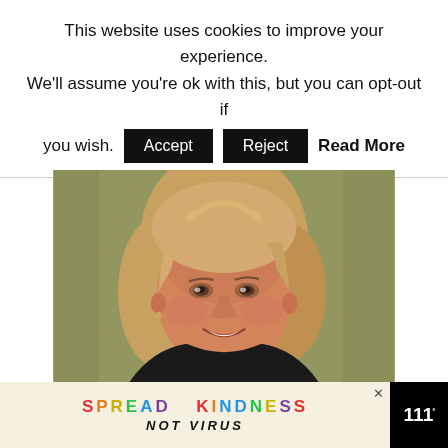This website uses cookies to improve your experience. We'll assume you're ok with this, but you can opt-out if you wish. Accept Reject Read More
[Figure (photo): Portrait photo of a smiling middle-aged woman with blonde hair against an olive/green background.]
[Figure (infographic): Ad banner with colorful text reading 'SPREAD KINDNESS NOT VIRUS' on a cream background with a close button, set against a black bar with a logo on the right.]